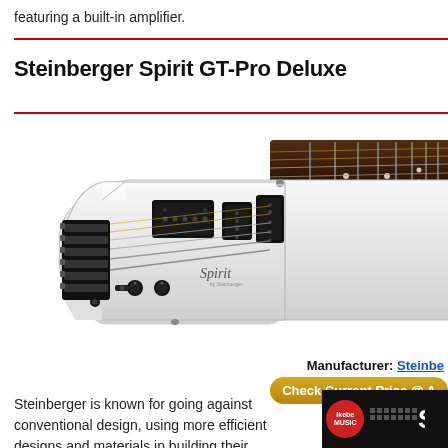featuring a built-in amplifier.
Steinberger Spirit GT-Pro Deluxe
[Figure (photo): White Steinberger Spirit GT-Pro Deluxe headless electric guitar with black hardware, showing body with two humbuckers, bridge, and dark fretboard extending to the right]
Manufacturer: Steinbe...
Check Current Price @ Ar...
Steinberger is known for going against conventional design, using more efficient designs and materials in building their instruments. To achieve
[Figure (logo): Ikebe Music advertisement banner with red circular Ikebe Music logo and pixelated/block text followed by letter S on black background]